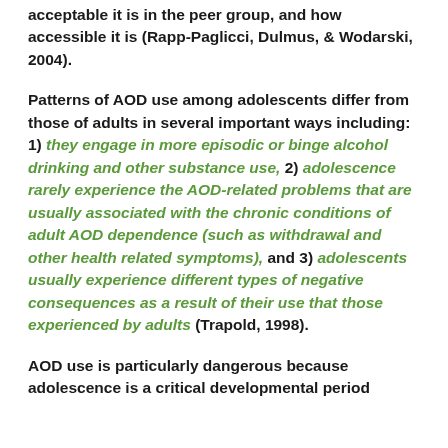acceptable it is in the peer group, and how accessible it is (Rapp-Paglicci, Dulmus, & Wodarski, 2004).
Patterns of AOD use among adolescents differ from those of adults in several important ways including: 1) they engage in more episodic or binge alcohol drinking and other substance use, 2) adolescence rarely experience the AOD-related problems that are usually associated with the chronic conditions of adult AOD dependence (such as withdrawal and other health related symptoms), and 3) adolescents usually experience different types of negative consequences as a result of their use that those experienced by adults (Trapold, 1998).
AOD use is particularly dangerous because adolescence is a critical developmental period